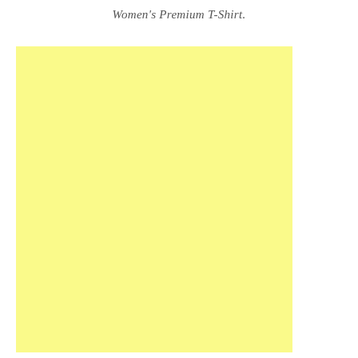Women's Premium T-Shirt.
[Figure (photo): A solid light yellow (pale yellow) rectangular color swatch or product image placeholder filling most of the page area.]